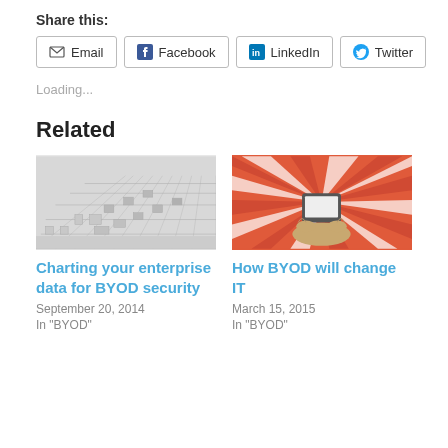Share this:
Email | Facebook | LinkedIn | Twitter
Loading...
Related
[Figure (photo): 3D white maze viewed from above at an angle]
Charting your enterprise data for BYOD security
September 20, 2014
In "BYOD"
[Figure (illustration): Hands holding a tablet device with red and white sunburst rays background]
How BYOD will change IT
March 15, 2015
In "BYOD"